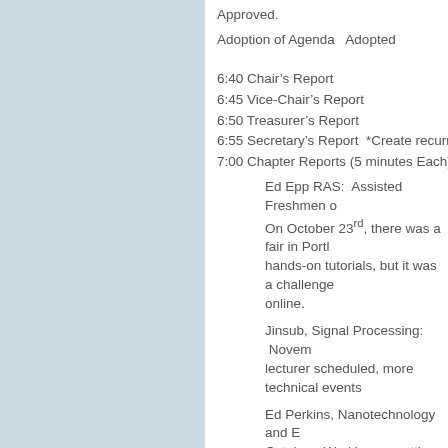Approved.
Adoption of Agenda  Adopted
6:40 Chair's Report
6:45 Vice-Chair's Report
6:50 Treasurer's Report
6:55 Secretary's Report  *Create recurring
7:00 Chapter Reports (5 minutes Each)
Ed Epp RAS:  Assisted Freshmen o... On October 23rd, there was a fair in Portl... hands-on tutorials, but it was a challenge... online.
Jinsub, Signal Processing:  Novem... lecturer scheduled, more technical events...
Ed Perkins, Nanotechnology and E... October.  Working on getting new officers... release form to Daniel, who will send it to...